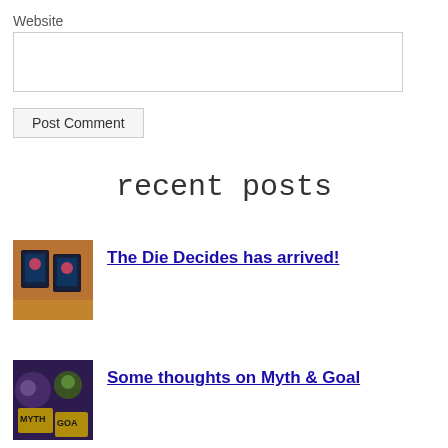Website
Post Comment
recent posts
[Figure (photo): Book cover photo for 'The Die Decides' showing dark book covers on a wooden surface with warm orange/brown lighting]
The Die Decides has arrived!
[Figure (photo): Game cover art for 'Myth & Goal' showing fantasy characters with 'MYTH' and 'GOA' text visible on a dark background]
Some thoughts on Myth & Goal